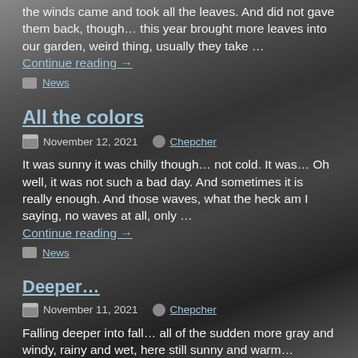the winds came and took all the leaves. And did not gave them back, though… this year brought more leaves into our garden, weird thing, usually they take …
Continue reading →
News
All the colors
November 12, 2021   Chepcher
It was sunny it was chilly though… not cold. It was… Oh well, it was not such a bad day. And sometimes it is really enough. And those waves, what the heck am I saying, no waves at all, only …
Continue reading →
News
Deeper…
November 11, 2021   Chepcher
Falling deeper into fall… all of the sudden more gray and windy, rainy and wet, here still sunny and warm… Change of seasons in autumn is also a thing. First you have late…